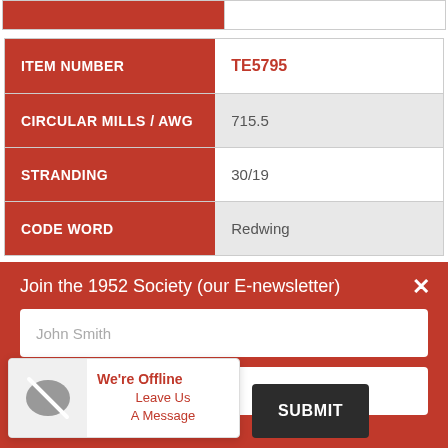| Field | Value |
| --- | --- |
| ITEM NUMBER | TE5795 |
| CIRCULAR MILLS / AWG | 715.5 |
| STRANDING | 30/19 |
| CODE WORD | Redwing |
Join the 1952 Society (our E-newsletter)
John Smith
We're Offline
Leave Us A Message
SUBMIT